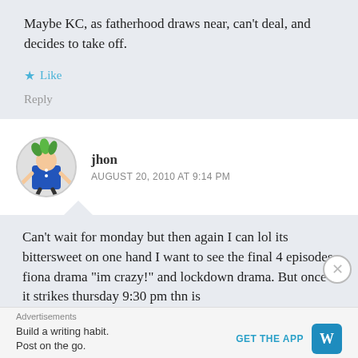Maybe KC, as fatherhood draws near, can't deal, and decides to take off.
Like
Reply
jhon
AUGUST 20, 2010 AT 9:14 PM
[Figure (illustration): Round avatar icon showing a cartoon figure in blue with green leaves/hair on head]
Can't wait for monday but then again I can lol its bittersweet on one hand I want to see the final 4 episodes fiona drama “im crazy!” and lockdown drama. But once it strikes thursday 9:30 pm thn is
Advertisements
Build a writing habit.
Post on the go.
GET THE APP